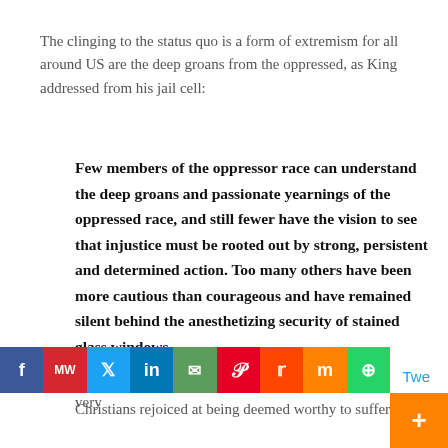The clinging to the status quo is a form of extremism for all around US are the deep groans from the oppressed, as King addressed from his jail cell:
Few members of the oppressor race can understand the deep groans and passionate yearnings of the oppressed race, and still fewer have the vision to see that injustice must be rooted out by strong, persistent and determined action. Too many others have been more cautious than courageous and have remained silent behind the anesthetizing security of stained glass windows.
There was a time when the church was very
Christians rejoiced at being deemed worthy to suffer fo